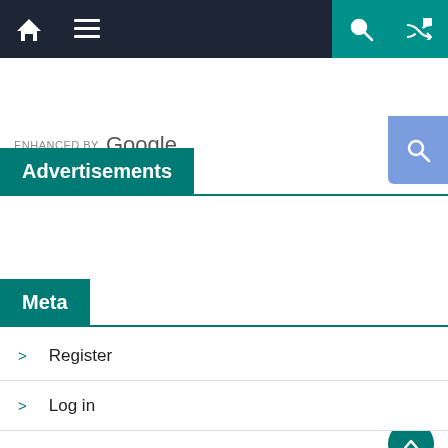[Figure (screenshot): Top navigation bar with home icon, hamburger menu, search icon, and random/shuffle icon on dark background with teal accent buttons]
[Figure (screenshot): Enhanced by Google search bar with blue search button on the right]
Advertisements
Meta
Register
Log in
Entries feed
Comments feed